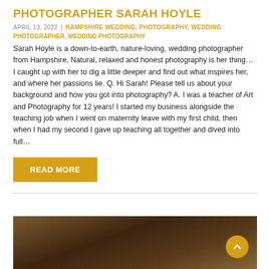PHOTOGRAPHER SARAH HOYLE
APRIL 13, 2022 | HAMPSHIRE WEDDING, PHOTOGRAPHY, WEDDING PHOTOGRAPHER, WEDDING PHOTOGRAPHY
Sarah Hoyle is a down-to-earth, nature-loving, wedding photographer from Hampshire. Natural, relaxed and honest photography is her thing… I caught up with her to dig a little deeper and find out what inspires her, and where her passions lie. Q. Hi Sarah! Please tell us about your background and how you got into photography? A. I was a teacher of Art and Photography for 12 years! I started my business alongside the teaching job when I went on maternity leave with my first child, then when I had my second I gave up teaching all together and dived into full…
READ MORE
[Figure (photo): Aerial or overhead photograph of a wooden/rustic surface, likely a barn or venue floor, with dark earthy tones]